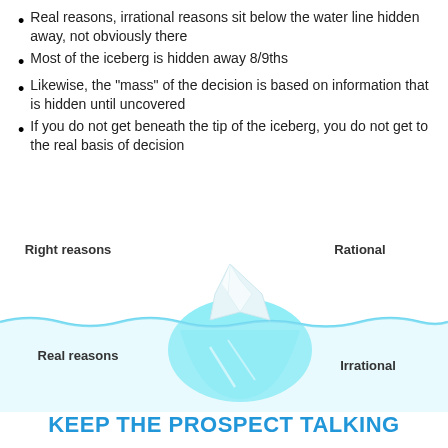Real reasons, irrational reasons sit below the water line hidden away, not obviously there
Most of the iceberg is hidden away 8/9ths
Likewise, the "mass" of the decision is based on information that is hidden until uncovered
If you do not get beneath the tip of the iceberg, you do not get to the real basis of decision
[Figure (illustration): Iceberg diagram showing 'Right reasons' and 'Rational' above the waterline, and 'Real reasons' and 'Irrational' below the waterline. The visible tip of the iceberg is white/grey, and the submerged mass is cyan/light blue. A wavy blue waterline crosses the middle.]
KEEP THE PROSPECT TALKING